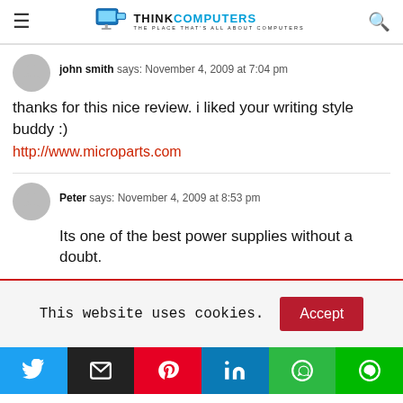ThinkComputers - The place that's all about computers
john smith says: November 4, 2009 at 7:04 pm
thanks for this nice review. i liked your writing style buddy :)
http://www.microparts.com
Peter says: November 4, 2009 at 8:53 pm
Its one of the best power supplies without a doubt.
This website uses cookies. Accept
[Figure (other): Social sharing buttons: Twitter, Email, Pinterest, LinkedIn, WhatsApp, Line]